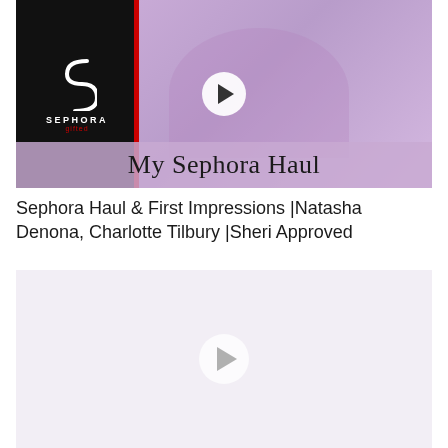[Figure (screenshot): YouTube video thumbnail showing a woman smiling in a purple background with Sephora logo on the left, a red vertical stripe, play button in center, and 'My Sephora Haul' text overlay at the bottom.]
Sephora Haul & First Impressions |Natasha Denona, Charlotte Tilbury |Sheri Approved
[Figure (screenshot): Second video thumbnail placeholder — light lavender/gray background with a faint play button circle in the center, no visible content loaded.]